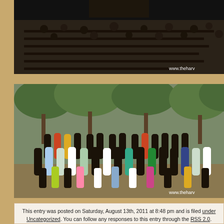[Figure (photo): Interior photo of a church or assembly hall with people seated on benches/pews, dark indoor setting. Watermark: www.theharv...]
[Figure (photo): Outdoor group photo of approximately 50-60 African individuals including men, women, and children posing together in front of trees. Two lighter-skinned individuals visible on the right side. Watermark: www.theharv...]
This entry was posted on Saturday, August 13th, 2011 at 8:48 pm and is filed under Uncategorized. You can follow any responses to this entry through the RSS 2.0. Both comments and pings are currently closed.